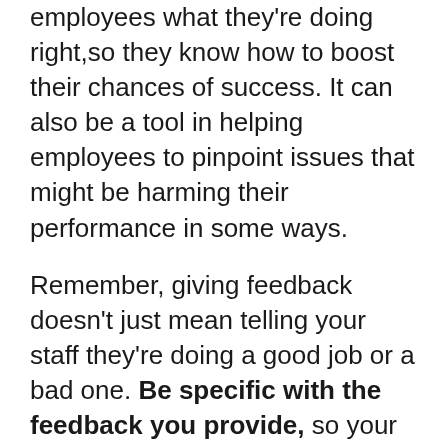employees what they're doing right,so they know how to boost their chances of success. It can also be a tool in helping employees to pinpoint issues that might be harming their performance in some ways.
Remember, giving feedback doesn't just mean telling your staff they're doing a good job or a bad one. Be specific with the feedback you provide, so your people can really learn.
Don't be afraid to ask for feedback from your staff too. They could give you excellent insights into how to be a more effective leader.